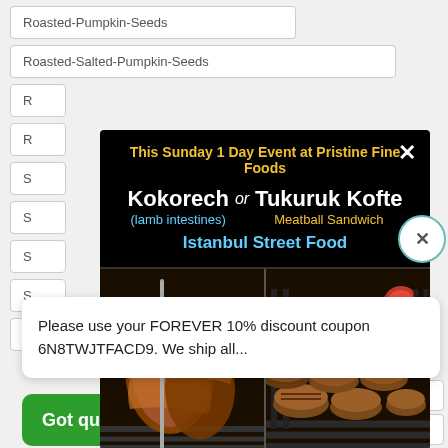Roasted-Pumpkin-Seeds
Roasted-Salted-Pumpkin-Seeds
R...
R...
S...
S...
S...
S...
S...
[Figure (screenshot): Modal popup advertisement for Pristine Fine Foods Istanbul Street Food event featuring Kokorech (lamb intestines) or Tukuruk Kofte (Meatball Sandwich), with food photos]
Please use your FOREVER 10% discount coupon 6N8TWJTFACD9. We ship all...
t-Baskets
oon-For-Tea
Got questions?